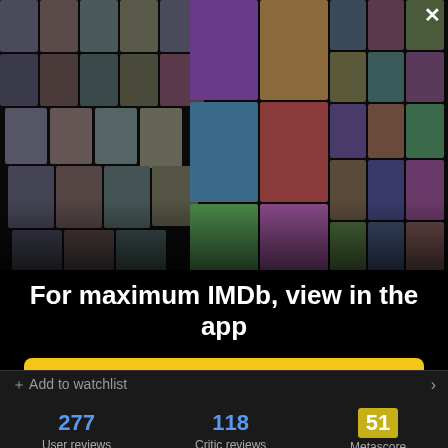[Figure (photo): IMDb app promotional collage showing actor headshots and movie posters arranged in a 3D perspective layout on a black background, with an X close button in the top right corner]
For maximum IMDb, view in the app
Get the app
Add to watchlist
277 User reviews
118 Critic reviews
51 Metascore